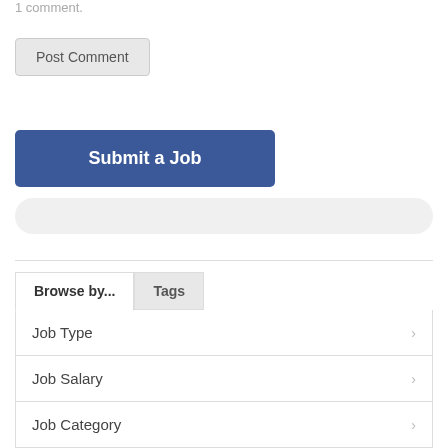1 comment.
Post Comment
Submit a Job
Browse by...
Tags
Job Type
Job Salary
Job Category
Date posted